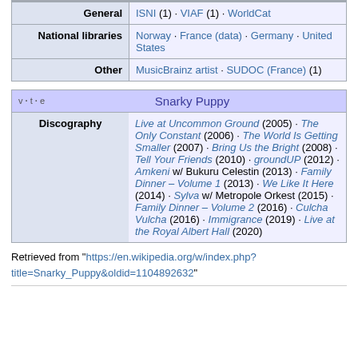|  |  |
| --- | --- |
| General | ISNI (1) · VIAF (1) · WorldCat |
| National libraries | Norway · France (data) · Germany · United States |
| Other | MusicBrainz artist · SUDOC (France) (1) |
| v·t·e  Snarky Puppy |  |
| --- | --- |
| Discography | Live at Uncommon Ground (2005) · The Only Constant (2006) · The World Is Getting Smaller (2007) · Bring Us the Bright (2008) · Tell Your Friends (2010) · groundUP (2012) · Amkeni w/ Bukuru Celestin (2013) · Family Dinner – Volume 1 (2013) · We Like It Here (2014) · Sylva w/ Metropole Orkest (2015) · Family Dinner – Volume 2 (2016) · Culcha Vulcha (2016) · Immigrance (2019) · Live at the Royal Albert Hall (2020) |
Retrieved from "https://en.wikipedia.org/w/index.php?title=Snarky_Puppy&oldid=1104892632"